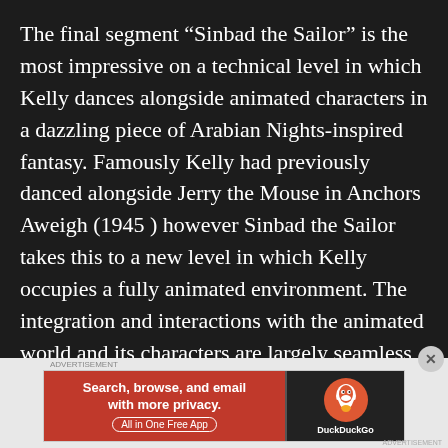The final segment “Sinbad the Sailor” is the most impressive on a technical level in which Kelly dances alongside animated characters in a dazzling piece of Arabian Nights-inspired fantasy. Famously Kelly had previously danced alongside Jerry the Mouse in Anchors Aweigh (1945 ) however Sinbad the Sailor takes this to a new level in which Kelly occupies a fully animated environment. The integration and interactions with the animated world and its characters are largely seamless and more than impressive for the time, with the dance steps of
[Figure (screenshot): DuckDuckGo advertisement banner with orange left panel reading 'Search, browse, and email with more privacy. All in One Free App' and dark right panel with DuckDuckGo duck logo]